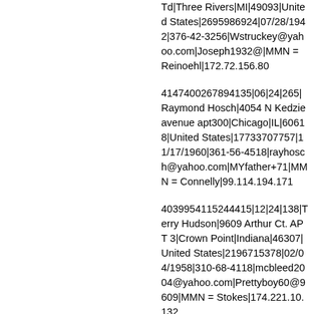Td|Three Rivers|MI|49093|United States|2695986924|07/28/1942|376-42-3256|Wstruckey@yahoo.com|Joseph1932@|MMN = Reinoehl|172.72.156.80
4147400267894135|06|24|265|Raymond Hosch|4054 N Kedzie avenue apt300|Chicago|IL|60618|United States|17733707757|11/17/1960|361-56-4518|rayhosch@yahoo.com|MYfather+71|MMN = Connelly|99.114.194.171
4039954115244415|12|24|138|Terry Hudson|9609 Arthur Ct. APT 3|Crown Point|Indiana|46307|United States|2196715378|02/04/1958|310-68-4118|mcbleed2004@yahoo.com|Prettyboy60@9609|MMN = Stokes|174.221.10.132
• WHERE TO BUY CC AND DUMPS 101 201
• HOW TO BUY CC AND DUMPS 101 201